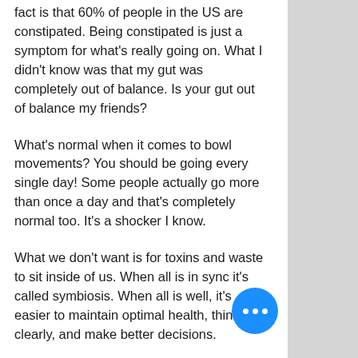fact is that 60% of people in the US are constipated. Being constipated is just a symptom for what's really going on. What I didn't know was that my gut was completely out of balance. Is your gut out of balance my friends?
What's normal when it comes to bowl movements? You should be going every single day! Some people actually go more than once a day and that's completely normal too. It's a shocker I know.
What we don't want is for toxins and waste to sit inside of us. When all is in sync it's called symbiosis. When all is well, it's easier to maintain optimal health, think clearly, and make better decisions.